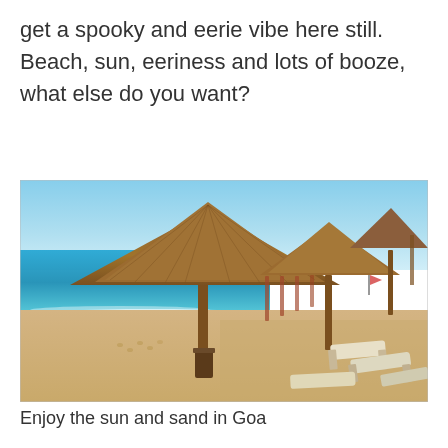get a spooky and eerie vibe here still. Beach, sun, eeriness and lots of booze, what else do you want?
[Figure (photo): Beach scene with thatched-roof umbrellas, lounge chairs on sandy beach with turquoise ocean water and blue sky in the background. Location: Goa, India.]
Enjoy the sun and sand in Goa